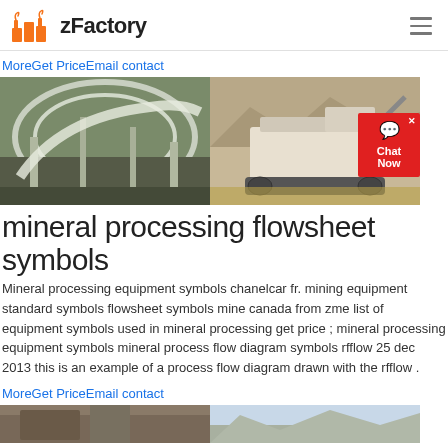zFactory
MoreGet PriceEmail contact
[Figure (photo): Two photos side by side: left shows an industrial circular conveyor/silo structure; right shows a large tracked mobile crushing/mining machine in a quarry setting.]
mineral processing flowsheet symbols
Mineral processing equipment symbols chanelcar fr. mining equipment standard symbols flowsheet symbols mine canada from zme list of equipment symbols used in mineral processing get price ; mineral processing equipment symbols mineral process flow diagram symbols rfflow 25 dec 2013 this is an example of a process flow diagram drawn with the rfflow .
MoreGet PriceEmail contact
[Figure (photo): Two photos side by side at bottom: left shows industrial equipment/factory scene; right shows outdoor/sky scene with machinery.]